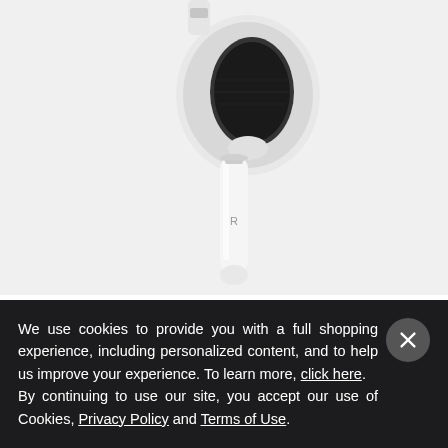[Figure (photo): AirPods (3rd generation) right earbud on light gray background, showing the stem with 'R' label]
The new third-generation AirPods feature a
We use cookies to provide you with a full shopping experience, including personalized content, and to help us improve your experience. To learn more, click here.
By continuing to use our site, you accept our use of Cookies, Privacy Policy and Terms of Use.